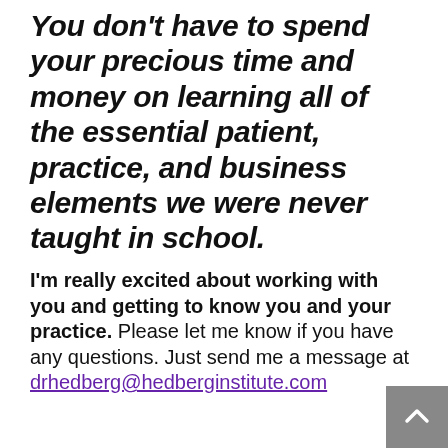You don't have to spend your precious time and money on learning all of the essential patient, practice, and business elements we were never taught in school.
I'm really excited about working with you and getting to know you and your practice. Please let me know if you have any questions. Just send me a message at drhedberg@hedberginstitute.com